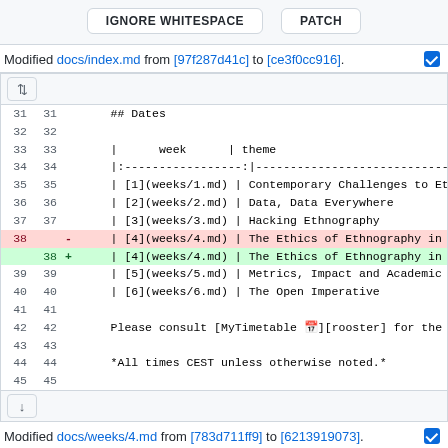[Figure (screenshot): Top button bar with IGNORE WHITESPACE and PATCH buttons]
Modified docs/index.md from [97f287d41c] to [ce3f0cc916].
[Figure (screenshot): Git diff view showing lines 31-45 of docs/index.md, with a changed line 38 (red deleted, green added) for The Ethics of Ethnography in Ind...]
Modified docs/weeks/4.md from [783d711ff9] to [6213919073].